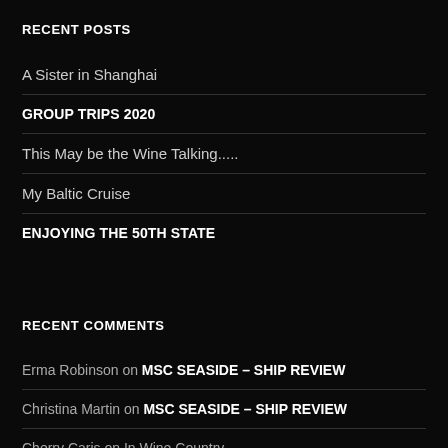RECENT POSTS
A Sister in Shanghai
GROUP TRIPS 2020
This May be the Wine Talking.....
My Baltic Cruise
ENJOYING THE 50TH STATE
RECENT COMMENTS
Erma Robinson on MSC SEASIDE – SHIP REVIEW
Christina Martin on MSC SEASIDE – SHIP REVIEW
Cherry Caris on In Wine Country